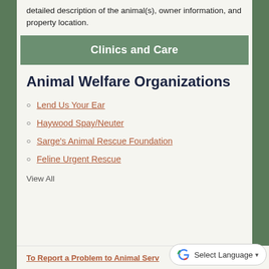detailed description of the animal(s), owner information, and property location.
Clinics and Care
Animal Welfare Organizations
Lend Us Your Ear
Haywood Spay/Neuter
Sarge's Animal Rescue Foundation
Feline Urgent Rescue
View All
To Report a Problem to Animal Serv…